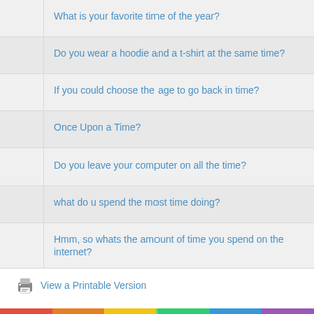What is your favorite time of the year?
Do you wear a hoodie and a t-shirt at the same time?
If you could choose the age to go back in time?
Once Upon a Time?
Do you leave your computer on all the time?
what do u spend the most time doing?
Hmm, so whats the amount of time you spend on the internet?
View a Printable Version
Users browsing this thread: 1 Guest(s)
Forum Team   Contact Us   Home   Return to Top   Lite (Archive) Mode   Mark All
Powered By MyBB, © 2002-2022 MyBB Group